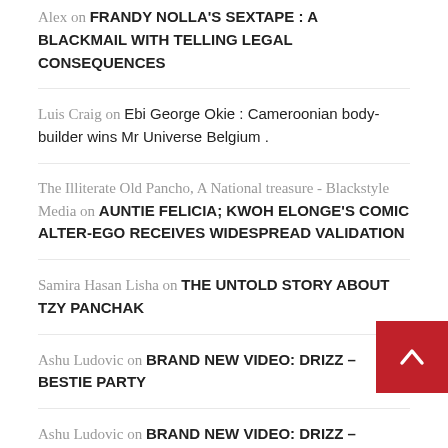Alex on FRANDY NOLLA'S SEXTAPE : A BLACKMAIL WITH TELLING LEGAL CONSEQUENCES
Luis Craig on Ebi George Okie : Cameroonian body-builder wins Mr Universe Belgium .
The Illiterate Old Pancho, A National treasure - Blackstyle Media on AUNTIE FELICIA; KWOH ELONGE'S COMIC ALTER-EGO RECEIVES WIDESPREAD VALIDATION
Samira Hasan Lisha on THE UNTOLD STORY ABOUT TZY PANCHAK
Ashu Ludovic on BRAND NEW VIDEO: DRIZZ – BESTIE PARTY
Ashu Ludovic on BRAND NEW VIDEO: DRIZZ – BESTIE PARTY
Nécrologie: Roger Nkembe Pessauk, le père de "Bambam